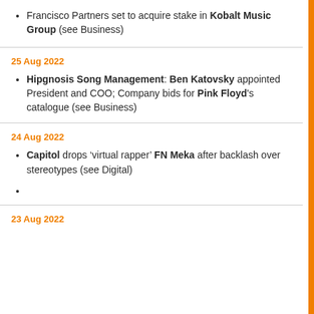Francisco Partners set to acquire stake in Kobalt Music Group (see Business)
25 Aug 2022
Hipgnosis Song Management: Ben Katovsky appointed President and COO; Company bids for Pink Floyd's catalogue (see Business)
24 Aug 2022
Capitol drops ‘virtual rapper’ FN Meka after backlash over stereotypes (see Digital)
23 Aug 2022